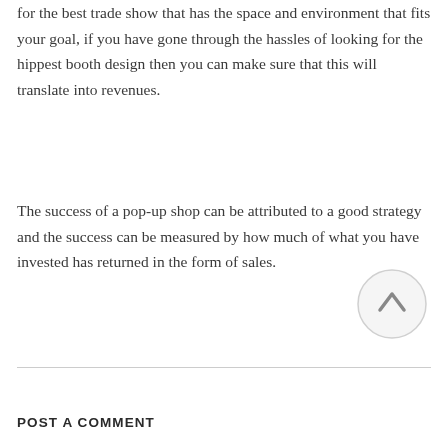for the best trade show that has the space and environment that fits your goal, if you have gone through the hassles of looking for the hippest booth design then you can make sure that this will translate into revenues.
The success of a pop-up shop can be attributed to a good strategy and the success can be measured by how much of what you have invested has returned in the form of sales.
[Figure (other): Circular scroll-to-top button with an upward arrow icon, light gray border and background]
POST A COMMENT